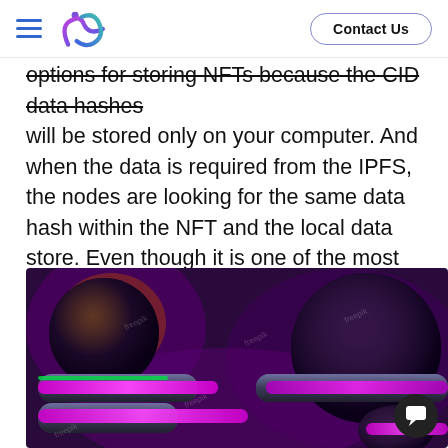Contact Us
options for storing NFTs because the CID data hashes will be stored only on your computer. And when the data is required from the IPFS, the nodes are looking for the same data hash within the NFT and the local data store. Even though it is one of the most secure methods, it still can be hacked.
[Figure (photo): 3D rendered futuristic robotic/cyborg figure with glowing magenta/pink neon light cylinders and metallic spheres on a dark purple background, with freepik watermarks.]